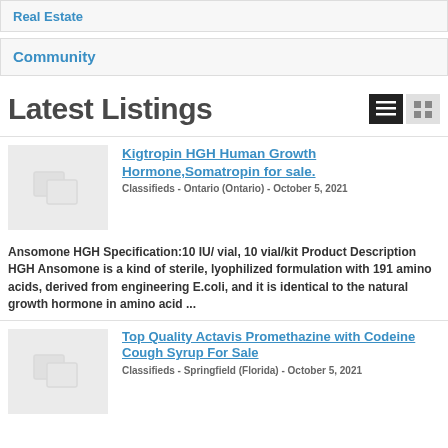Real Estate
Community
Latest Listings
Kigtropin HGH Human Growth Hormone,Somatropin for sale.
Classifieds - Ontario (Ontario) - October 5, 2021
Ansomone HGH Specification:10 IU/ vial, 10 vial/kit Product Description HGH Ansomone is a kind of sterile, lyophilized formulation with 191 amino acids, derived from engineering E.coli, and it is identical to the natural growth hormone in amino acid ...
Top Quality Actavis Promethazine with Codeine Cough Syrup For Sale
Classifieds - Springfield (Florida) - October 5, 2021